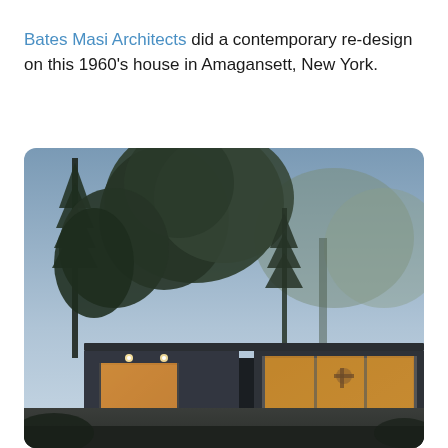Bates Masi Architects did a contemporary re-design on this 1960's house in Amagansett, New York.
[Figure (photo): Exterior photo of a contemporary re-designed 1960s house in Amagansett, New York, at dusk. The house features a dark flat roof with warm interior lighting visible through large glass windows and sliding doors. Tall trees with dark silhouettes fill the background against a pale blue-grey twilight sky.]